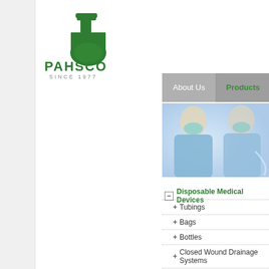[Figure (logo): PAHSCO SINCE 1977 logo with green flask/beaker icon]
[Figure (screenshot): Website navigation bar with About Us, Products (active/highlighted in green), News, Pa... menu items on grey background]
[Figure (photo): Hero image showing two surgeons/medical professionals in blue scrubs and surgical masks, blurred medical/operating room background]
Disposable Medical Devices
+ Tubings
+ Bags
+ Bottles
+ Closed Wound Drainage Systems
Bandable Tracers